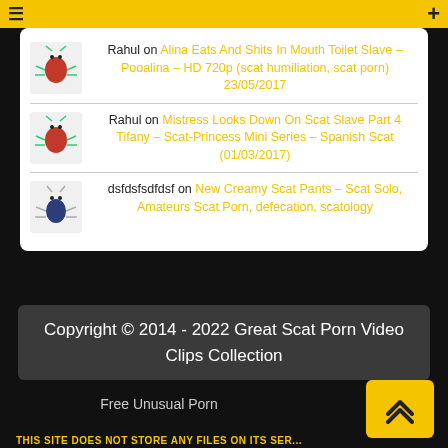Rahul on Alina Eats And Shits In Mouth Toilet Slave – Pooalina – HD 720p (scat humiliation, scat porn) 23/05/2017
Rahul on Mistress Looks Down On Scat Slave Part 4 Tifany – Scat-Princess Mini Series – Spanish Scat (01/03/2017)
dsfdsfsdfdsf on New Creamy Scat Pants – Scat Solo, Amateurs Scat Porn, defecation, scatology
Copyright © 2014 - 2022 Great Scat Porn Video Clips Collection
Free Unusual Porn
THIS SITE DOES NOT STORE ANY FILES ON ITS SER...